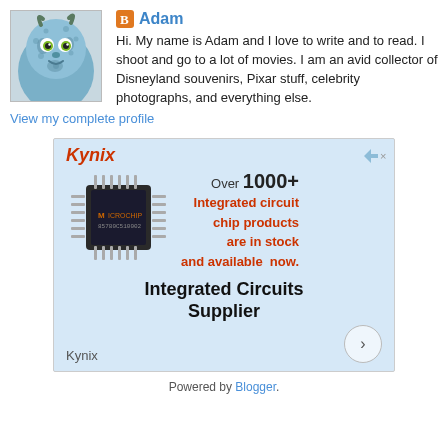[Figure (photo): Avatar image of Sulley from Monsters Inc.]
Adam
Hi. My name is Adam and I love to write and to read. I shoot and go to a lot of movies. I am an avid collector of Disneyland souvenirs, Pixar stuff, celebrity photographs, and everything else.
View my complete profile
[Figure (infographic): Kynix advertisement banner. Shows Kynix logo in red italic, an integrated circuit chip image, text: Over 1000+ Integrated circuit chip products are in stock and available now. Bottom: Integrated Circuits Supplier, Kynix brand name, circle arrow button.]
Powered by Blogger.